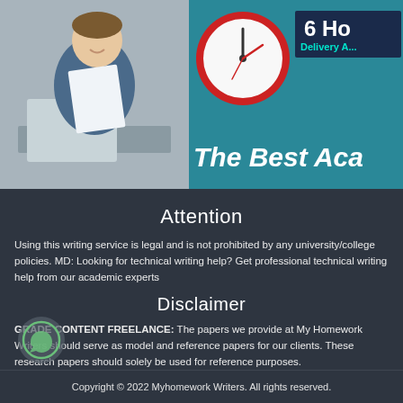[Figure (photo): Banner with a man reading papers on the left and a clock with '6 Hour Delivery Available' and 'The Best Aca...' text on a teal background on the right]
Attention
Using this writing service is legal and is not prohibited by any university/college policies. MD: Looking for technical writing help? Get professional technical writing help from our academic experts
Disclaimer
GRADE CONTENT FREELANCE: The papers we provide at My Homework Writers should serve as model and reference papers for our clients. These research papers should solely be used for reference purposes.
Copyright © 2022 Myhomework Writers. All rights reserved.